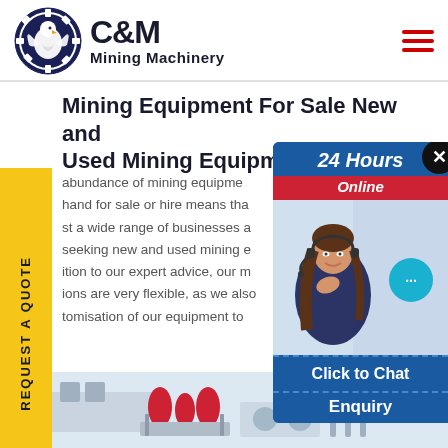[Figure (logo): C&M Mining Machinery logo with eagle/gear emblem in dark navy circle, company name in bold black text]
Mining Equipment For Sale New and Used Mining Equipment
abundance of mining equipment hand for sale or hire means that a wide range of businesses and seeking new and used mining e ition to our expert advice, our m ions are very flexible, as we also tomisation of our equipment to
[Figure (photo): 24 Hours Online chat widget showing a customer service representative (woman with headset) and chat interface with 'Click to Chat' and 'Enquiry' buttons]
[Figure (photo): Bottom strip showing industrial mining machinery equipment]